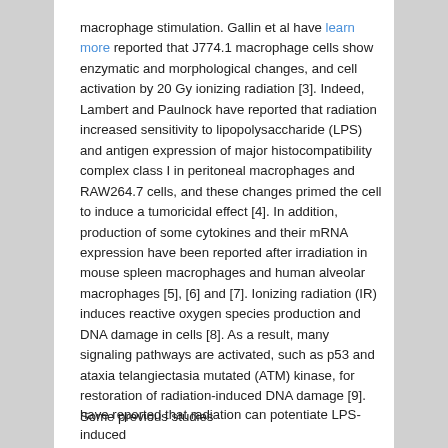macrophage stimulation. Gallin et al have learn more reported that J774.1 macrophage cells show enzymatic and morphological changes, and cell activation by 20 Gy ionizing radiation [3]. Indeed, Lambert and Paulnock have reported that radiation increased sensitivity to lipopolysaccharide (LPS) and antigen expression of major histocompatibility complex class I in peritoneal macrophages and RAW264.7 cells, and these changes primed the cell to induce a tumoricidal effect [4]. In addition, production of some cytokines and their mRNA expression have been reported after irradiation in mouse spleen macrophages and human alveolar macrophages [5], [6] and [7]. Ionizing radiation (IR) induces reactive oxygen species production and DNA damage in cells [8]. As a result, many signaling pathways are activated, such as p53 and ataxia telangiectasia mutated (ATM) kinase, for restoration of radiation-induced DNA damage [9]. Some previous studies
have reported that radiation can potentiate LPS-induced